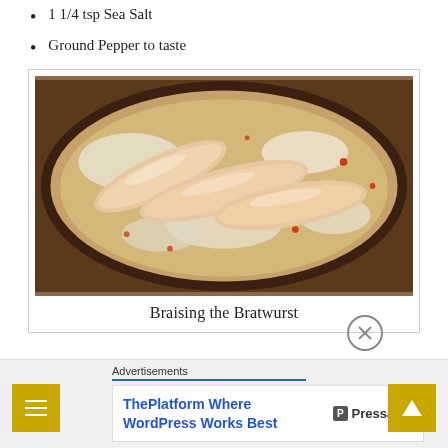1 1/4 tsp Sea Salt
Ground Pepper to taste
[Figure (photo): Photo of bratwurst sausages being braised in a pan with liquid, red pepper flakes visible]
Braising the Bratwurst
Advertisements
[Figure (logo): ThePlatform Where WordPress Works Best - Pressable advertisement]